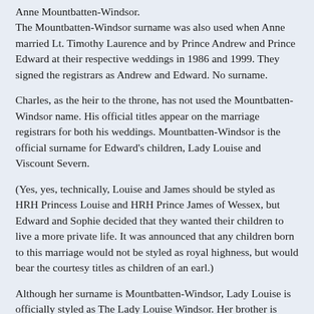Anne Mountbatten-Windsor.
The Mountbatten-Windsor surname was also used when Anne married Lt. Timothy Laurence and by Prince Andrew and Prince Edward at their respective weddings in 1986 and 1999. They signed the registrars as Andrew and Edward. No surname.
Charles, as the heir to the throne, has not used the Mountbatten-Windsor name. His official titles appear on the marriage registrars for both his weddings. Mountbatten-Windsor is the official surname for Edward's children, Lady Louise and Viscount Severn.
(Yes, yes, technically, Louise and James should be styled as HRH Princess Louise and HRH Prince James of Wessex, but Edward and Sophie decided that they wanted their children to live a more private life. It was announced that any children born to this marriage would not be styled as royal highness, but would bear the courtesy titles as children of an earl.)
Although her surname is Mountbatten-Windsor, Lady Louise is officially styled as The Lady Louise Windsor. Her brother is styled as Viscount Severn, and will probably sign his name as James Severn until he succeeds to his father's earldom or the Edinburgh